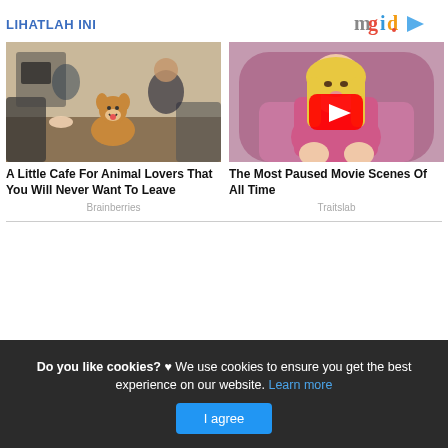LIHATLAH INI
[Figure (logo): mgid logo with play icon]
[Figure (photo): People sitting on floor petting a happy corgi dog at an animal cafe]
A Little Cafe For Animal Lovers That You Will Never Want To Leave
Brainberries
[Figure (photo): Blonde woman in pink outfit sitting on chair, with YouTube play button overlay]
The Most Paused Movie Scenes Of All Time
Traitslab
Do you like cookies? ♥ We use cookies to ensure you get the best experience on our website. Learn more
I agree